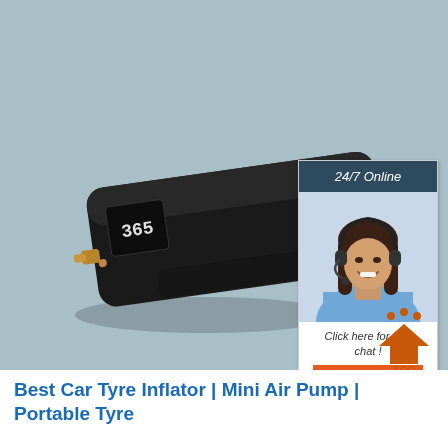[Figure (photo): A small black portable car tyre inflator / mini air pump device shown on a light blue-grey background. The device is a compact rectangular black unit with a small display showing numbers, vents, and a gold valve connector.]
[Figure (infographic): A chat support widget in the top-right corner. Dark blue-grey header says '24/7 Online' in italic white text. Below is a photo of a smiling woman with a headset. Footer says 'Click here for free chat!' in italic text with an orange 'QUOTATION' button below.]
[Figure (illustration): A 'TOP' back-to-top button icon in the bottom-right area, showing an orange house-like arrow shape with orange dots above it and 'TOP' text in orange below.]
Best Car Tyre Inflator | Mini Air Pump | Portable Tyre